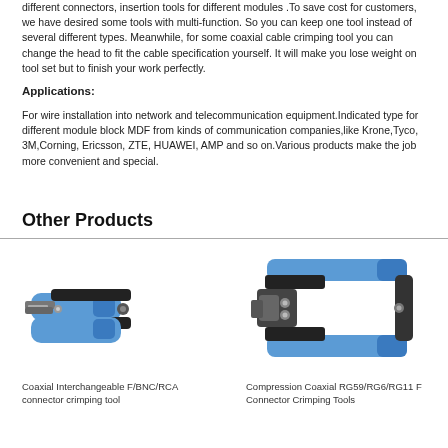different connectors, insertion tools for different modules. To save cost for customers, we have desired some tools with multi-function. So you can keep one tool instead of several different types. Meanwhile, for some coaxial cable crimping tool you can change the head to fit the cable specification yourself. It will make you lose weight on tool set but to finish your work perfectly.
Applications:
For wire installation into network and telecommunication equipment.Indicated type for different module block MDF from kinds of communication companies,like Krone,Tyco, 3M,Corning, Ericsson, ZTE, HUAWEI, AMP and so on.Various products make the job more convenient and special.
Other Products
[Figure (photo): Coaxial Interchangeable F/BNC/RCA connector crimping tool - a blue and black handheld crimping tool]
Coaxial Interchangeable F/BNC/RCA connector crimping tool
[Figure (photo): Compression Coaxial RG59/RG6/RG11 F Connector Crimping Tools - a blue and black large crimping tool]
Compression Coaxial RG59/RG6/RG11 F Connector Crimping Tools